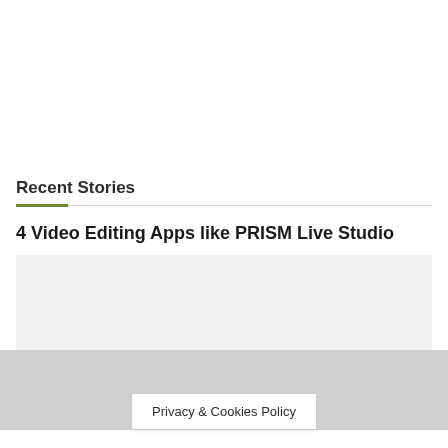Recent Stories
4 Video Editing Apps like PRISM Live Studio
[Figure (photo): Placeholder image area for article thumbnail]
Privacy & Cookies Policy